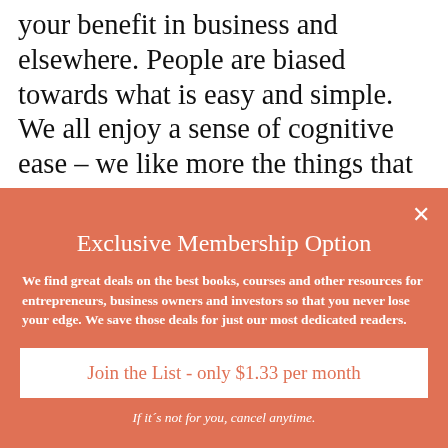your benefit in business and elsewhere. People are biased towards what is easy and simple. We all enjoy a sense of cognitive ease – we like more the things that are easiest to understand and process. Make the complex
Exclusive Membership Option
We find great deals on the best books, courses and other resources for entrepreneurs, business owners and investors so that you never lose your edge. We save those deals for just our most dedicated readers.
Join the List - only $1.33 per month
If it´s not for you, cancel anytime.